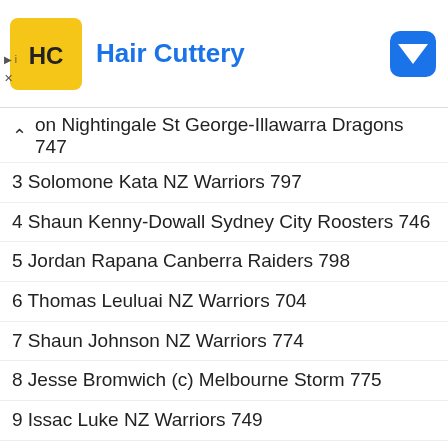[Figure (logo): Hair Cuttery advertisement banner with yellow logo icon and blue title text]
on Nightingale St George-Illawarra Dragons 747
3 Solomone Kata NZ Warriors 797
4 Shaun Kenny-Dowall Sydney City Roosters 746
5 Jordan Rapana Canberra Raiders 798
6 Thomas Leuluai NZ Warriors 704
7 Shaun Johnson NZ Warriors 774
8 Jesse Bromwich (c) Melbourne Storm 775
9 Issac Luke NZ Warriors 749
10 Jared Waerea-Hargreaves Sydney City Roosters 755
11 Kevin Proctor Melbourne Storm 771
12 Tohu Harris Melbourne Storm 778
13 Jason Taumalolo North Queensland Cowboys 786
14 Lewis Brown Manly-Warringah Sea Eagles 762
15 Martin Taupau Manly-Warringah Sea Eagles 785
16 Manu Ma'u Parramatta Eels 795
17 Adam Blair Brisbane Broncos 732